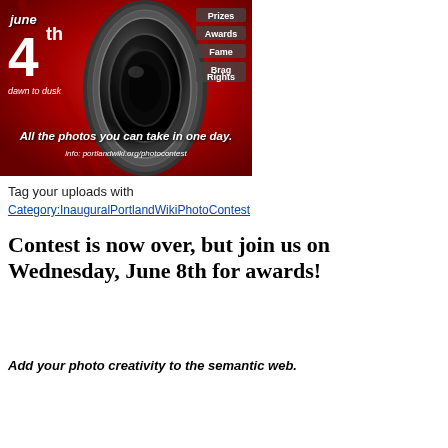[Figure (photo): Photo contest banner with red background, camera lens, date June 4th dawn to dusk, menu items Prizes/Awards/Fame/Brag Rights, tagline 'All the photos you can take in one day.' and URL portlandwiki.org/photocontest]
Tag your uploads with
Category:InauguralPortlandWikiPhotoContest
Contest is now over, but join us on Wednesday, June 8th for awards!
Add your photo creativity to the semantic web.